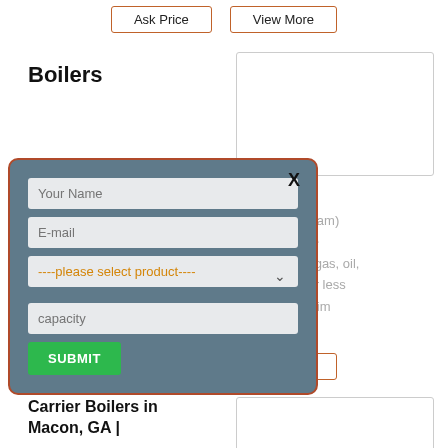Ask Price
View More
Boilers
[Figure (other): Product thumbnail image placeholder box (top right)]
[Figure (screenshot): Modal dialog with a contact form containing fields: Your Name, E-mail, a dropdown for please select product, capacity, and a SUBMIT button. Has a close X button. Background shows partial text about generating steam, Btu, water heater for gas oil, capacity equal to or less, units with oxygen trim.]
ot generating steam)
ion Btu under the
water heater for gas, oil,
pacity equal to or less
its with oxygen trim
Ask Price
View More
Carrier Boilers in
Macon, GA |
[Figure (other): Product thumbnail image placeholder box (bottom right)]